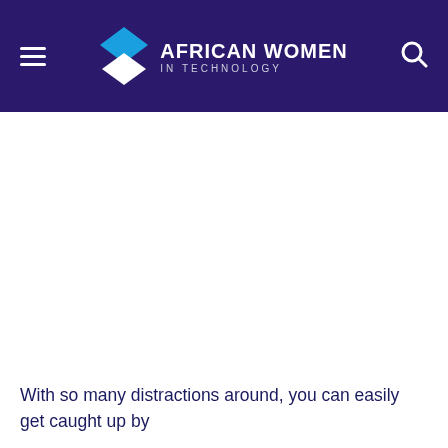AFRICAN WOMEN IN TECHNOLOGY
With so many distractions around, you can easily get caught up by